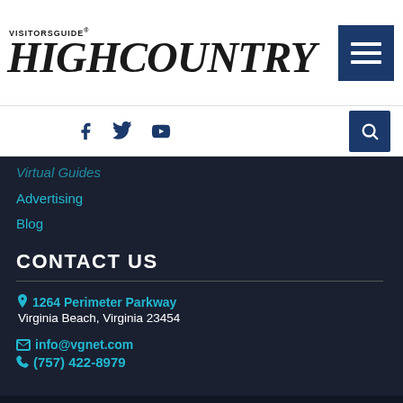VisitorsGuide HIGH COUNTRY
Virtual Guides
Advertising
Blog
CONTACT US
1264 Perimeter Parkway
Virginia Beach, Virginia 23454
info@vgnet.com
(757) 422-8979